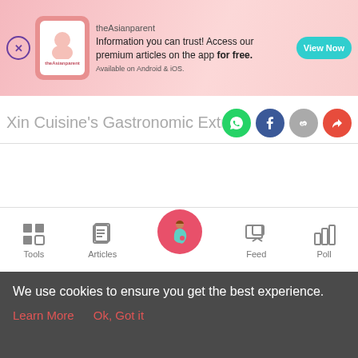[Figure (screenshot): theAsianparent app advertisement banner with pink background, logo, text and 'View Now' button]
Xin Cuisine's Gastronomic Extravaga
[Figure (screenshot): Mobile app bottom navigation bar with Tools, Articles, home (pregnant woman icon), Feed, and Poll icons]
We use cookies to ensure you get the best experience.
Learn More    Ok, Got it